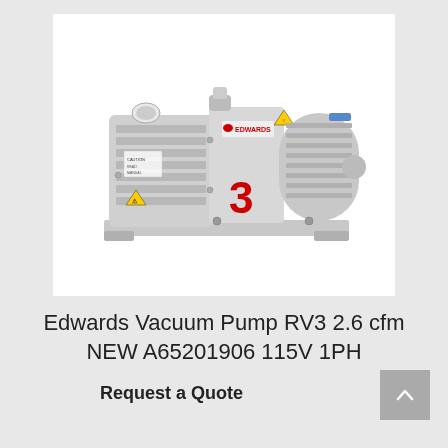[Figure (photo): Edwards Vacuum Pump RV3 — a grey industrial rotary vane vacuum pump with the Edwards logo and red number 3 on the body, shown in a white background product photo.]
Edwards Vacuum Pump RV3 2.6 cfm NEW A65201906 115V 1PH
Request a Quote